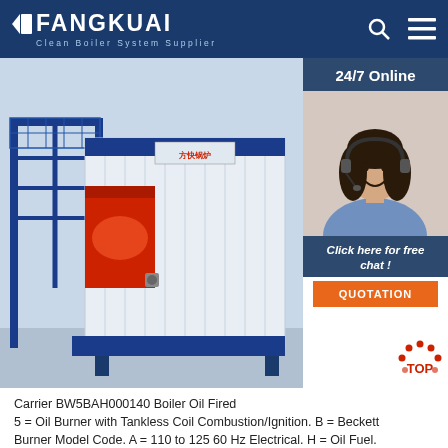FANGKUAI Clean Boiler System Supplier
[Figure (photo): Industrial oil-fired boiler unit in blue and white with red burner, shown outdoors with blue metal staircase/frame. Fangkuai logo visible on the boiler.]
[Figure (photo): 24/7 Online customer service representative - woman with headset smiling, with dark hair, shown in sidebar panel with 'Click here for free chat!' and QUOTATION button.]
Carrier BW5BAH000140 Boiler Oil Fired 5 = Oil Burner with Tankless Coil Combustion/Ignition. B = Beckett Burner Model Code. A = 110 to 125 60 Hz Electrical. H = Oil Fuel. 000 = Cooling. 140 = 140,000 Boiler input Btuh. The modern design and attractive appearance of the models BW4 and BW5 Oil-Fired